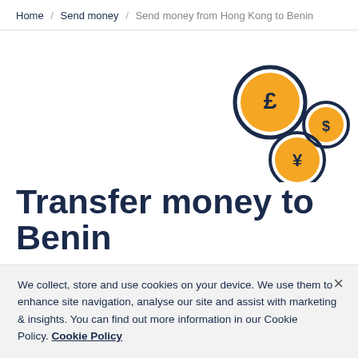Home / Send money / Send money from Hong Kong to Benin
[Figure (illustration): Three currency coin icons: a large pound (£) coin with dark navy border, a smaller dollar ($) coin, and a yen (¥) coin, arranged decoratively in the upper-right area of the page.]
Transfer money to Benin
We collect, store and use cookies on your device. We use them to enhance site navigation, analyse our site and assist with marketing & insights. You can find out more information in our Cookie Policy. Cookie Policy
bank-beating foreign currency